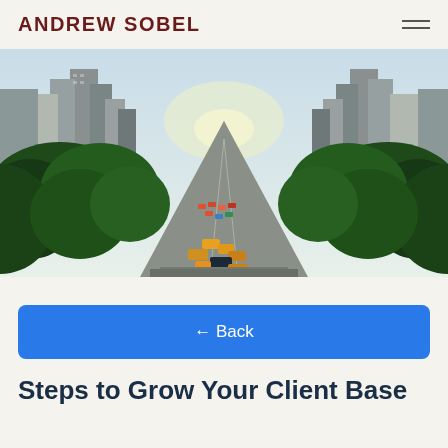ANDREW SOBEL
[Figure (photo): Aerial view of a busy New York City avenue with tall skyscrapers on both sides, green trees, and yellow taxis in traffic. The perspective looks down the avenue toward a bright vanishing point.]
← Back
Steps to Grow Your Client Base